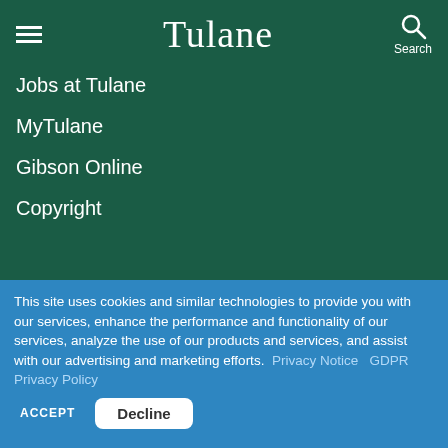Tulane
Jobs at Tulane
MyTulane
Gibson Online
Copyright
This site uses cookies and similar technologies to provide you with our services, enhance the performance and functionality of our services, analyze the use of our products and services, and assist with our advertising and marketing efforts.  Privacy Notice   GDPR Privacy Policy
ACCEPT   Decline